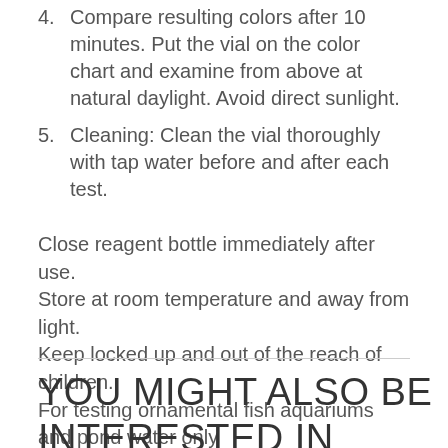4. Compare resulting colors after 10 minutes. Put the vial on the color chart and examine from above at natural daylight. Avoid direct sunlight.
5. Cleaning: Clean the vial thoroughly with tap water before and after each test.
Close reagent bottle immediately after use. Store at room temperature and away from light. Keep locked up and out of the reach of children. For testing ornamental fish aquariums and pond water only
YOU MIGHT ALSO BE INTERESTED IN